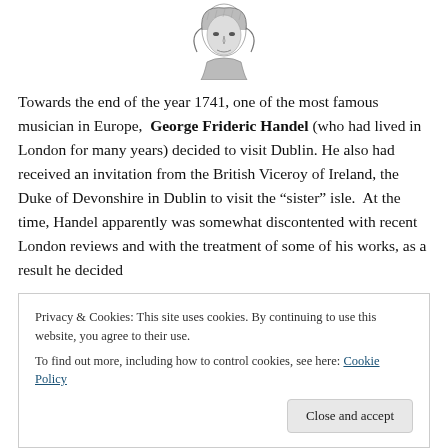[Figure (illustration): Partial black and white engraving/illustration of a figure, cropped at top of page]
Towards the end of the year 1741, one of the most famous musician in Europe,  George Frideric Handel (who had lived in London for many years) decided to visit Dublin. He also had received an invitation from the British Viceroy of Ireland, the Duke of Devonshire in Dublin to visit the “sister” isle.  At the time, Handel apparently was somewhat discontented with recent London reviews and with the treatment of some of his works, as a result he decided
Privacy & Cookies: This site uses cookies. By continuing to use this website, you agree to their use.
To find out more, including how to control cookies, see here: Cookie Policy
Close and accept